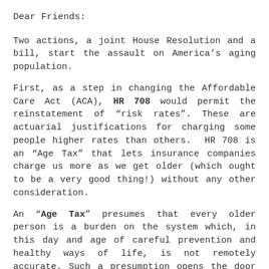Dear Friends:
Two actions, a joint House Resolution and a bill, start the assault on America’s aging population.
First, as a step in changing the Affordable Care Act (ACA), HR 708 would permit the reinstatement of “risk rates”. These are actuarial justifications for charging some people higher rates than others.  HR 708 is an “Age Tax” that lets insurance companies charge us more as we get older (which ought to be a very good thing!) without any other consideration.
An “Age Tax” presumes that every older person is a burden on the system which, in this day and age of careful prevention and healthy ways of life, is not remotely accurate. Such a presumption opens the door to restoring the ban on coverage for pre-existing conditions. These aspects of health coverage denial and unaffordability were eliminated from ACA for very good reasons. They put health care financially out of the reach of older people and let insurance companies “cherry pick” only the healthy to cover.
We need you to contact both your Representative and your two